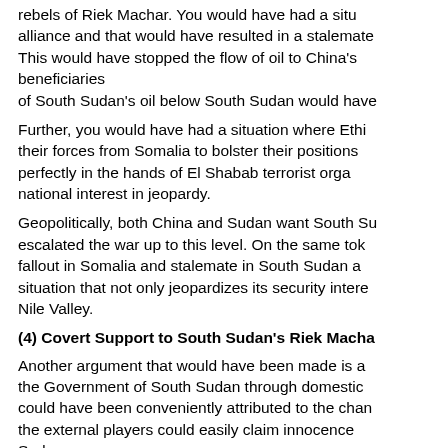rebels of Riek Machar. You would have had a situation alliance and that would have resulted in a stalemate. This would have stopped the flow of oil to China's beneficiaries of South Sudan's oil below South Sudan would have
Further, you would have had a situation where Ethiopia their forces from Somalia to bolster their positions perfectly in the hands of El Shabab terrorist organization national interest in jeopardy.
Geopolitically, both China and Sudan want South Sudan escalated the war up to this level. On the same token fallout in Somalia and stalemate in South Sudan and situation that not only jeopardizes its security interests Nile Valley.
(4) Covert Support to South Sudan's Riek Machar
Another argument that would have been made is a the Government of South Sudan through domestic could have been conveniently attributed to the change the external players could easily claim innocence Sudan.